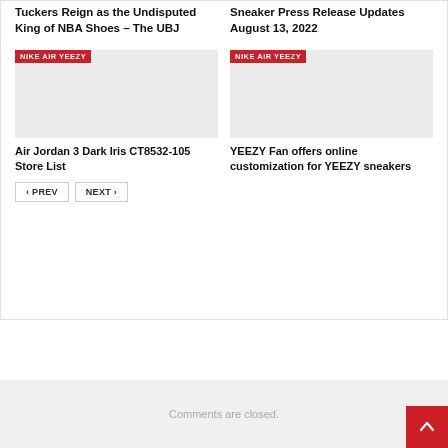Tuckers Reign as the Undisputed King of NBA Shoes – The UBJ
Sneaker Press Release Updates August 13, 2022
[Figure (photo): Placeholder image with NIKE AIR YEEZY badge, left card]
[Figure (photo): Placeholder image with NIKE AIR YEEZY badge, right card]
Air Jordan 3 Dark Iris CT8532-105 Store List
YEEZY Fan offers online customization for YEEZY sneakers
< PREV
NEXT >
Comments are closed.